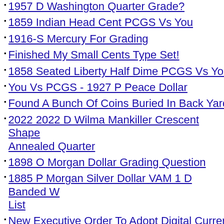1957 D Washington Quarter Grade?
1859 Indian Head Cent PCGS Vs You
1916-S Mercury For Grading
Finished My Small Cents Type Set!
1858 Seated Liberty Half Dime PCGS Vs You
You Vs PCGS - 1927 P Peace Dollar
Found A Bunch Of Coins Buried In Back Yard
2022 2022 D Wilma Mankiller Crescent Shaped Annealed Quarter
1898 O Morgan Dollar Grading Question
1885 P Morgan Silver Dollar VAM 1 D Banded W List
New Executive Order To Adopt Digital Currency
1999 D MS BRO 003-S S-V Good Thi...